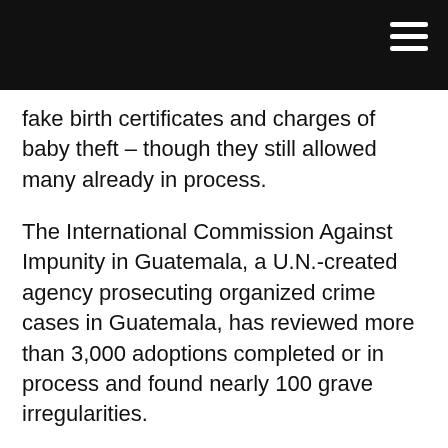fake birth certificates and charges of baby theft – though they still allowed many already in process.
The International Commission Against Impunity in Guatemala, a U.N.-created agency prosecuting organized crime cases in Guatemala, has reviewed more than 3,000 adoptions completed or in process and found nearly 100 grave irregularities.
The U.S. still does not allow adoptions from Guatemala, though the State Department is currently assisting with 397 children whose adoptions were in process at the time of the ban.
The court ruling signed by Judge Angelica Noemi Tellez Hernandez canceled the girl's passport and ordered her returned in two months, asking the U.S. Embassy in